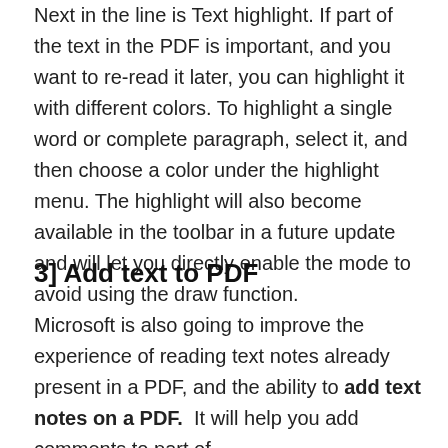Next in the line is Text highlight. If part of the text in the PDF is important, and you want to re-read it later, you can highlight it with different colors. To highlight a single word or complete paragraph, select it, and then choose a color under the highlight menu. The highlight will also become available in the toolbar in a future update and will let you directly enable the mode to avoid using the draw function.
3] Add text to PDF
Microsoft is also going to improve the experience of reading text notes already present in a PDF, and the ability to add text notes on a PDF. It will help you add comments to part of